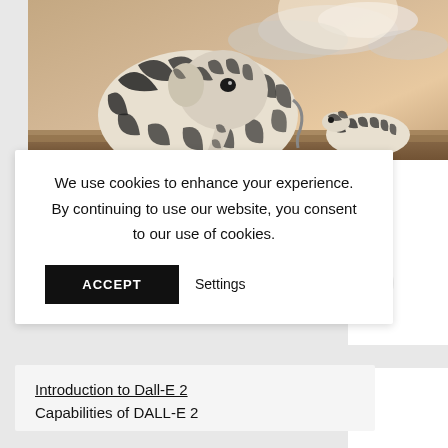[Figure (photo): AI-generated image of a zebra-patterned elephant standing next to a real zebra on a savanna at sunset, with dramatic cloudy sky in the background.]
We use cookies to enhance your experience. By continuing to use our website, you consent to our use of cookies.
ACCEPT    Settings
Introduction to Dall-E 2
Capabilities of DALL-E 2